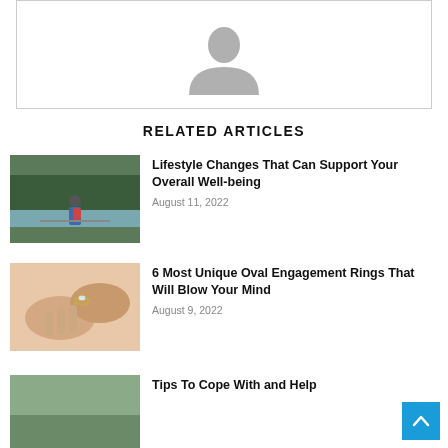[Figure (illustration): Default avatar/profile placeholder icon: a grey silhouette of a person on white background inside a bordered box]
RELATED ARTICLES
[Figure (photo): Person with backpack looking at a lake with forested hills in background]
Lifestyle Changes That Can Support Your Overall Well-being
August 11, 2022
[Figure (photo): Close-up of hands wearing an oval engagement ring]
6 Most Unique Oval Engagement Rings That Will Blow Your Mind
August 9, 2022
[Figure (photo): Partially visible image of a third article]
Tips To Cope With and Help